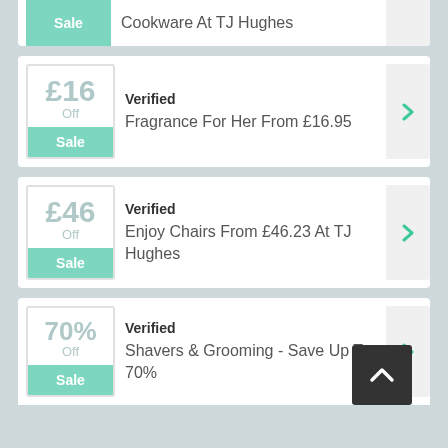Cookware At TJ Hughes — Sale (partial card top)
Verified — Fragrance For Her From £16.95 — £16 Off Sale
Verified — Enjoy Chairs From £46.23 At TJ Hughes — £46 Off Sale
Verified — Shavers & Grooming - Save Up To 70% — 70% Off Sale